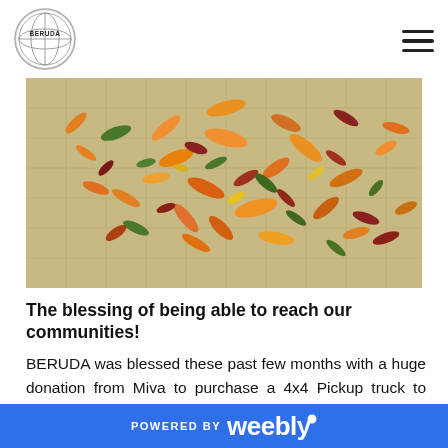BERUDA logo and navigation menu
[Figure (photo): Close-up photo of colorful dried seeds/plant material spread on a woven mat surface, showing orange, green, red and yellow colors]
The blessing of being able to reach our communities!
BERUDA was blessed these past few months with a huge donation from Miva to purchase a 4x4 Pickup truck to ease movement around the communities to render services to mankind, for which we are grateful and have already commenced these services. A special appreciation to Miva for this support.
POWERED BY weebly